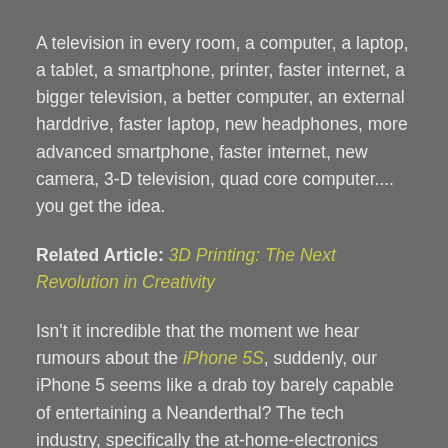A television in every room, a computer, a laptop, a tablet, a smartphone, printer, faster internet, a bigger television, a better computer, an external harddrive, faster laptop, new headphones, more advanced smartphone, faster internet, new camera, 3-D television, quad core computer.... you get the idea.
Related Article: 3D Printing: The Next Revolution in Creativity
Isn't it incredible that the moment we hear rumours about the iPhone 5S, suddenly, our iPhone 5 seems like a drab toy barely capable of entertaining a Neanderthal? The tech industry, specifically the at-home-electronics industry, is a Yoda-level swindler when it comes to